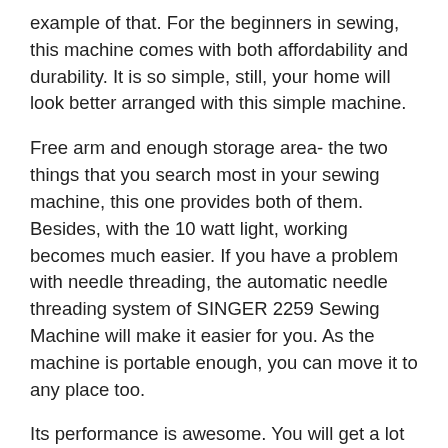example of that. For the beginners in sewing, this machine comes with both affordability and durability. It is so simple, still, your home will look better arranged with this simple machine.
Free arm and enough storage area- the two things that you search most in your sewing machine, this one provides both of them. Besides, with the 10 watt light, working becomes much easier. If you have a problem with needle threading, the automatic needle threading system of SINGER 2259 Sewing Machine will make it easier for you. As the machine is portable enough, you can move it to any place too.
Its performance is awesome. You will get a lot of accessories with this machine too. And last but not the least, SINGER 2259 Sewing Machine has a total of 19 stitches with so many variations for you. Isn't that exciting?